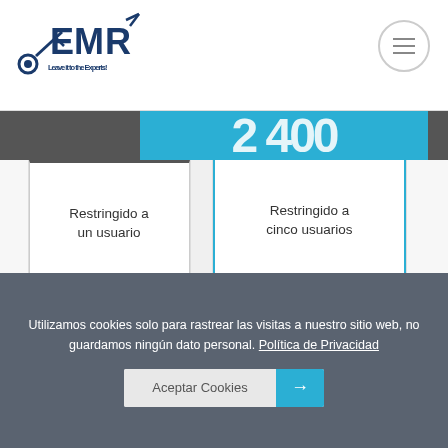[Figure (logo): EMR logo with text 'Leave it to the Experts!']
Restringido a un usuario
Solo una impresión
Disponible en PDF
Personalización (strikethrough)
Restringido a cinco usuarios
Una impresión por usuario
Disponible en PDF
Personalización
Utilizamos cookies solo para rastrear las visitas a nuestro sitio web, no guardamos ningún dato personal. Política de Privacidad
Aceptar Cookies →